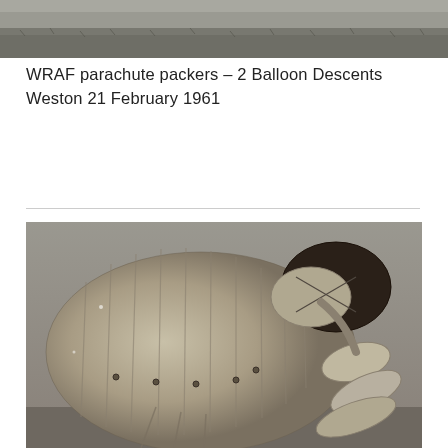[Figure (photo): Black and white photograph showing a grassy field, top portion cropped, taken outdoors.]
WRAF parachute packers – 2 Balloon Descents Weston 21 February 1961
[Figure (photo): Black and white photograph of a large barrage balloon inflated and on the ground, showing ribbed fabric surface and stabilizing fins. The balloon appears to be a WWII-era or postwar military observation balloon.]